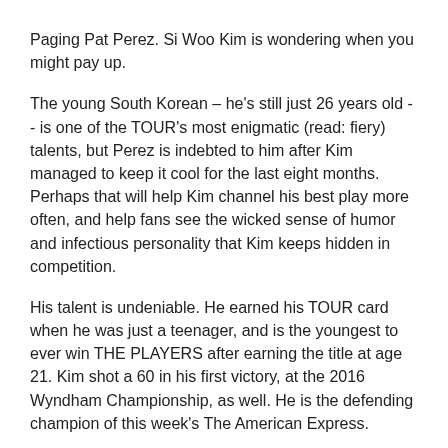Paging Pat Perez. Si Woo Kim is wondering when you might pay up.
The young South Korean – he's still just 26 years old -- is one of the TOUR's most enigmatic (read: fiery) talents, but Perez is indebted to him after Kim managed to keep it cool for the last eight months. Perhaps that will help Kim channel his best play more often, and help fans see the wicked sense of humor and infectious personality that Kim keeps hidden in competition.
His talent is undeniable. He earned his TOUR card when he was just a teenager, and is the youngest to ever win THE PLAYERS after earning the title at age 21. Kim shot a 60 in his first victory, at the 2016 Wyndham Championship, as well. He is the defending champion of this week's The American Express.
But for all his incredible accomplishments, Kim can confound with his struggles. Forrest Gump's famous saying about a box of chocolates also can apply to Kim's game. You never know what you're going to get.